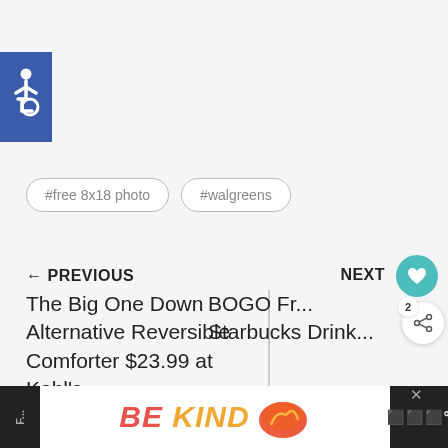[Figure (illustration): Accessibility icon — white wheelchair symbol on blue square background]
#free 8x18 photo
#walgreens
← PREVIOUS
NEXT
The Big One Down Alternative Reversible Comforter $23.99 at Kohl's
BOGO Fr... Starbucks Drink...
WHAT'S NEXT → Top Walgreens Deals | Week...
[Figure (photo): Small photo of a Walgreens store exterior — orange/brick building]
BE KIND